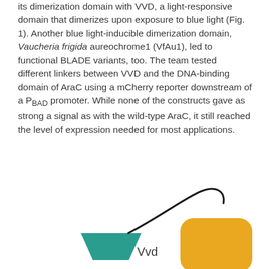its dimerization domain with VVD, a light-responsive domain that dimerizes upon exposure to blue light (Fig. 1). Another blue light-inducible dimerization domain, Vaucheria frigida aureochrome1 (VfAu1), led to functional BLADE variants, too. The team tested different linkers between VVD and the DNA-binding domain of AraC using a mCherry reporter downstream of a PBAD promoter. While none of the constructs gave as strong a signal as with the wild-type AraC, it still reached the level of expression needed for most applications.
[Figure (illustration): Partial diagram showing BLADE construct components: a teal trapezoid labeled 'Vvd' and a golden-orange rounded square shape, connected by a curved black line, representing the dimerization domain fusion proteins.]